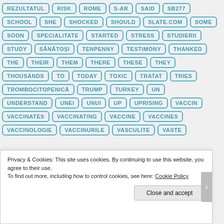[Figure (other): Tag cloud with bordered keyword tags in blue/teal color. Tags include: REZULTATUL, RISK, ROME, S-AR, SAID, SB277, SCHOOL, SHE, SHOCKED, SHOULD, SLATE.COM, SOME, SOON, SPECIALITATE, STARTED, STRESS, STUDIERII, STUDY, SĂNĂTOȘI, TENPENNY, TESTIMONY, THANKED, THE, THEIR, THEM, THERE, THESE, THEY, THOUSANDS, TO, TODAY, TOXIC, TRATAT, TRIES, TROMBOCITOPENICĂ, TRUMP, TURKEY, UN, UNDERSTAND, UNEI, UNUI, UP, UPRISING, VACCIN, VACCINATES, VACCINATING, VACCINE, VACCINES, VACCINOLOGIE, VACCINURILE, VASCULITE, VASTE]
Privacy & Cookies: This site uses cookies. By continuing to use this website, you agree to their use.
To find out more, including how to control cookies, see here: Cookie Policy
Close and accept